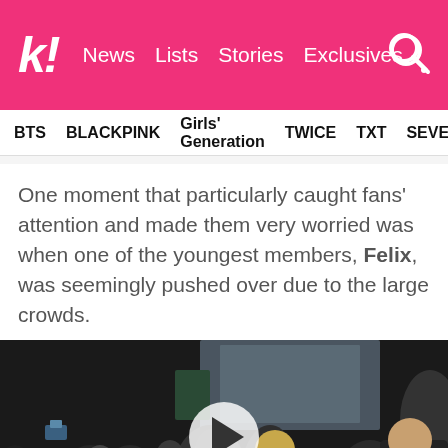k! News  Lists  Stories  Exclusives
BTS  BLACKPINK  Girls' Generation  TWICE  TXT  SEVE
One moment that particularly caught fans' attention and made them very worried was when one of the youngest members, Felix, was seemingly pushed over due to the large crowds.
[Figure (photo): A video thumbnail showing a large crowd of people at what appears to be an airport or public venue, with a play button overlay in the center.]